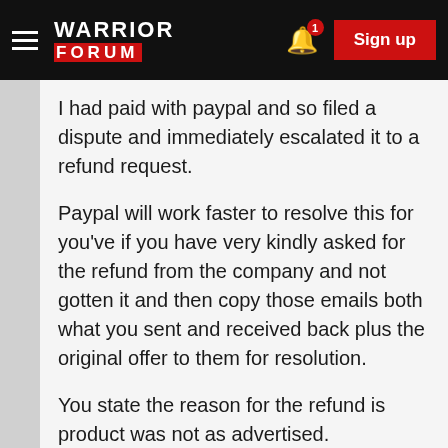WARRIOR FORUM — Sign up
I had paid with paypal and so filed a dispute and immediately escalated it to a refund request.
Paypal will work faster to resolve this for you've if you have very kindly asked for the refund from the company and not gotten it and then copy those emails both what you sent and received back plus the original offer to them for resolution.
You state the reason for the refund is product was not as advertised.